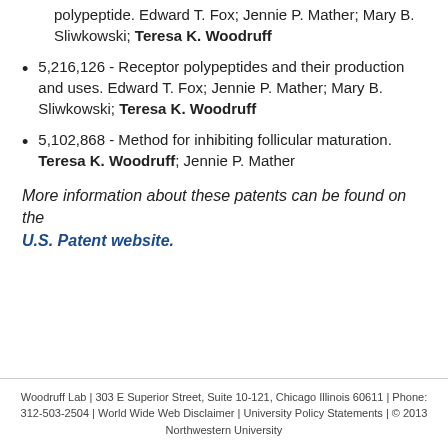polypeptide. Edward T. Fox; Jennie P. Mather; Mary B. Sliwkowski; Teresa K. Woodruff
5,216,126 - Receptor polypeptides and their production and uses. Edward T. Fox; Jennie P. Mather; Mary B. Sliwkowski; Teresa K. Woodruff
5,102,868 - Method for inhibiting follicular maturation. Teresa K. Woodruff; Jennie P. Mather
More information about these patents can be found on the U.S. Patent website.
Woodruff Lab | 303 E Superior Street, Suite 10-121, Chicago Illinois 60611 | Phone: 312-503-2504 | World Wide Web Disclaimer | University Policy Statements | © 2013 Northwestern University